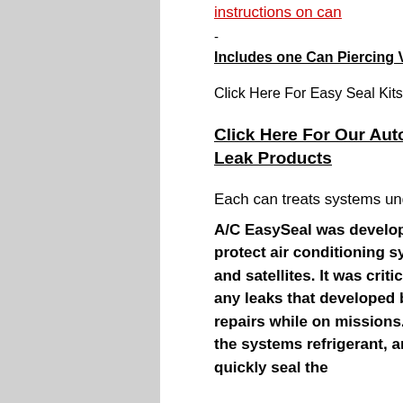instructions on can
-
Includes one Can Piercing Valve and Hose
Click Here For Easy Seal Kits
Click Here For Our Automotive Air Conditioner Leak Products
Each can treats systems under 1.5 tons
A/C EasySeal was developed from technology used to protect air conditioning systems on nuclear submarines and satellites. It was critical in these applications that any leaks that developed be sealed immediately to avoid repairs while on missions. The product circulates with the systems refrigerant, and if a leak should occur, it will quickly seal the